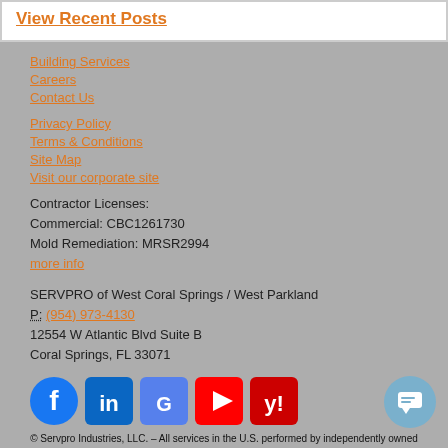View Recent Posts
Building Services
Careers
Contact Us
Privacy Policy
Terms & Conditions
Site Map
Visit our corporate site
Contractor Licenses:
Commercial: CBC1261730
Mold Remediation: MRSR2994
more info
SERVPRO of West Coral Springs / West Parkland
P: (954) 973-4130
12554 W Atlantic Blvd Suite B
Coral Springs, FL 33071
[Figure (other): Social media icons: Facebook, LinkedIn, Google, YouTube, Yelp]
© Servpro Industries, LLC. – All services in the U.S. performed by independently owned and operated franchises of Servpro Industries, LLC.
© Servpro Industries (Canada) ULC – All services in Canada performed by independently owned and operated franchises of Servpro Industries (Canada) ULC.